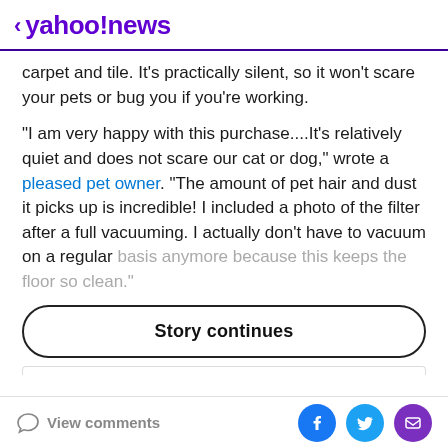< yahoo!news
carpet and tile. It's practically silent, so it won't scare your pets or bug you if you're working.
"I am very happy with this purchase....It's relatively quiet and does not scare our cat or dog," wrote a pleased pet owner. "The amount of pet hair and dust it picks up is incredible! I included a photo of the filter after a full vacuuming. I actually don't have to vacuum on a regular basis anymore because this keeps the floor so clean."
Story continues
View comments